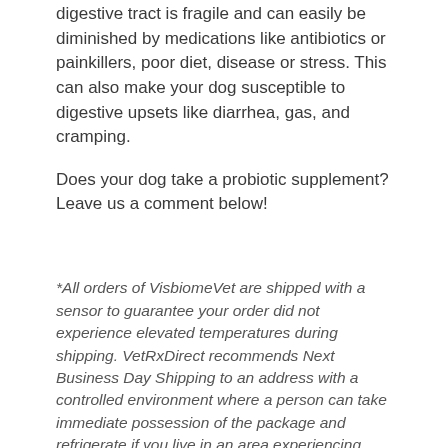digestive tract is fragile and can easily be diminished by medications like antibiotics or painkillers, poor diet, disease or stress. This can also make your dog susceptible to digestive upsets like diarrhea, gas, and cramping.
Does your dog take a probiotic supplement? Leave us a comment below!
*All orders of VisbiomeVet are shipped with a sensor to guarantee your order did not experience elevated temperatures during shipping. VetRxDirect recommends Next Business Day Shipping to an address with a controlled environment where a person can take immediate possession of the package and refrigerate if you live in an area experiencing ambient outdoor temperatures above 77° F.
Posted in Gastrointestinal Issues in Pets | Tagged Dog Probiotics, visbiome, visbiome dog probiotics, visbiome